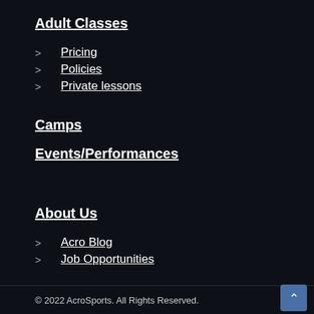Adult Classes
Pricing
Policies
Private lessons
Camps
Events/Performances
About Us
Acro Blog
Job Opportunities
© 2022 AcroSports. All Rights Reserved.